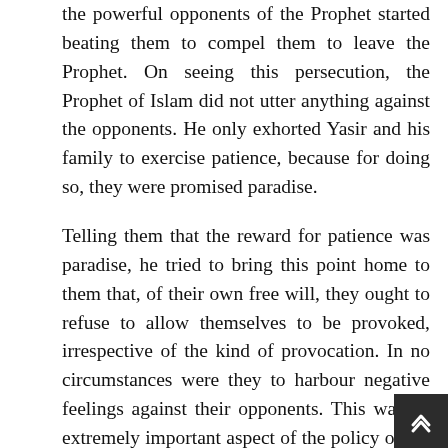the powerful opponents of the Prophet started beating them to compel them to leave the Prophet. On seeing this persecution, the Prophet of Islam did not utter anything against the opponents. He only exhorted Yasir and his family to exercise patience, because for doing so, they were promised paradise.
Telling them that the reward for patience was paradise, he tried to bring this point home to them that, of their own free will, they ought to refuse to allow themselves to be provoked, irrespective of the kind of provocation. In no circumstances were they to harbour negative feelings against their opponents. This was an extremely important aspect of the policy of the Prophet of Islam, which he himself followed, with God's guidance; that is, remaining patient in the face of all acts of injustice committed by his opponents. The Qur'an gives clear guidelines on this subject. It records the words of